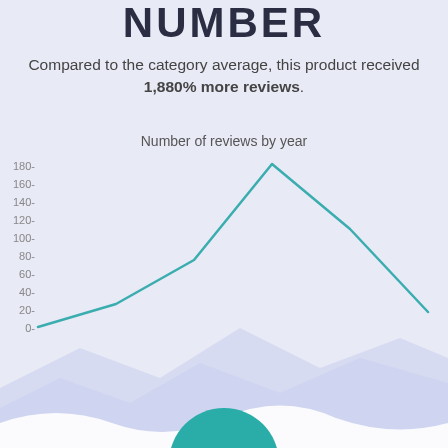NUMBER
Compared to the category average, this product received 1,880% more reviews.
[Figure (line-chart): Number of reviews by year]